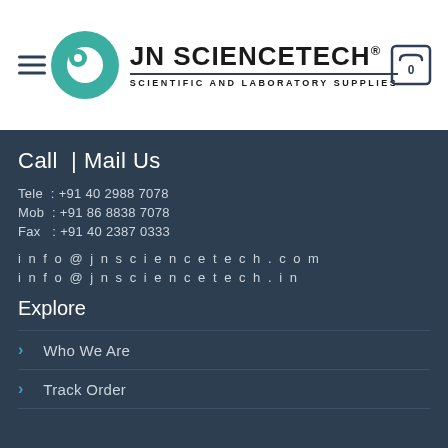JN SCIENCETECH® — SCIENTIFIC AND LABORATORY SUPPLIES
Call | Mail Us
Tele : +91 40 2988 7078
Mob : +91 86 8838 7078
Fax : +91 40 2387 0333
info@jnsciencetech.com
info@jnsciencetech.in
Explore
> Who We Are
> Track Order